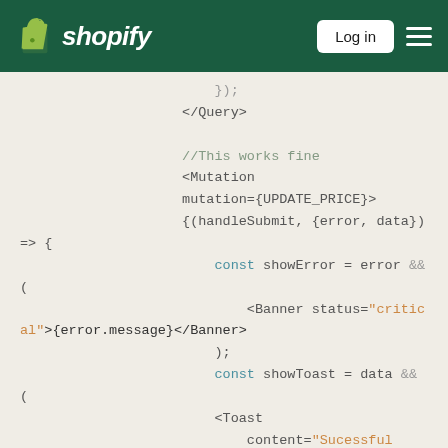Shopify — Log in
Code snippet showing GraphQL Mutation usage with handleSubmit, showError (Banner), and showToast (Toast) components in JSX